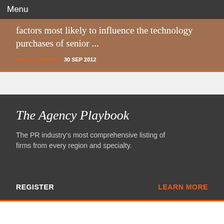Menu
factors most likely to influence the technology purchases of senior ...
HOLMES REPORT  30 SEP 2012
The Agency Playbook
The PR industry's most comprehensive listing of firms from every region and specialty.
REGISTER
LEARN MORE